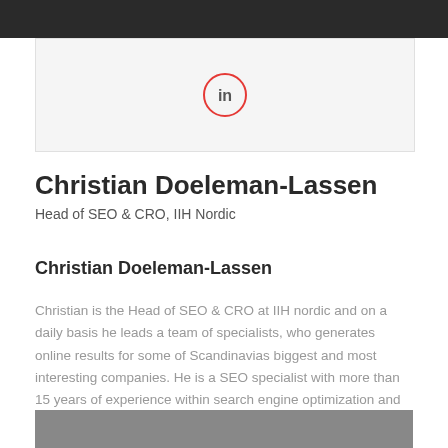[Figure (photo): Top portion of a grayscale portrait photo cropped at top of page]
[Figure (logo): LinkedIn logo icon inside a red circle outline]
Christian Doeleman-Lassen
Head of SEO & CRO, IIH Nordic
Christian Doeleman-Lassen
Christian is the Head of SEO & CRO at IIH nordic and on a daily basis he leads a team of specialists, who generates online results for some of Scandinavias biggest and most interesting companies. He is a SEO specialist with more than 15 years of experience within search engine optimization and online marketing.
[Figure (photo): Bottom portion of a grayscale portrait photo cropped at bottom of page]